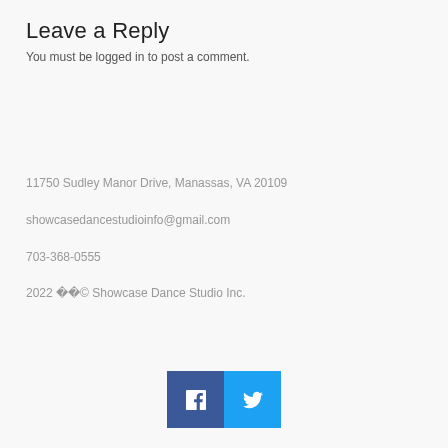Leave a Reply
You must be logged in to post a comment.
11750 Sudley Manor Drive, Manassas, VA 20109
showcasedancestudioinfo@gmail.com
703-368-0555
2022 © Showcase Dance Studio Inc.
[Figure (other): Social media buttons: Facebook (blue square with white f) and Twitter (cyan square with white bird icon)]